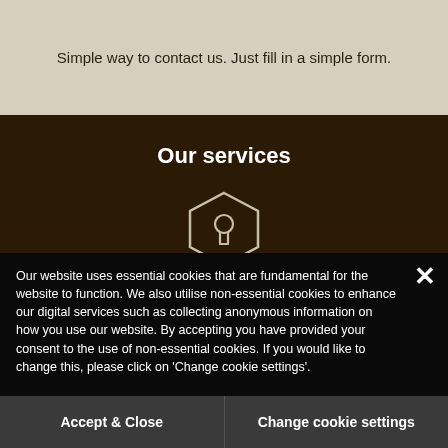Simple way to contact us. Just fill in a simple form.
Our services
[Figure (illustration): Hexagonal lock/security icon in white outline on dark brown background]
Find out details about what we can do for you.
Our website uses essential cookies that are fundamental for the website to function. We also utilise non-essential cookies to enhance our digital services such as collecting anonymous information on how you use our website. By accepting you have provided your consent to the use of non-essential cookies. If you would like to change this, please click on 'Change cookie settings'.
Accept & Close
Change cookie settings